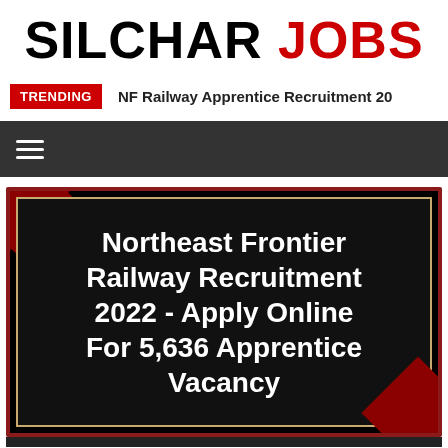SILCHAR JOBS
TRENDING   NF Railway Apprentice Recruitment 20
[Figure (infographic): Northeast Frontier Railway Recruitment 2022 - Apply Online For 5,636 Apprentice Vacancy promotional image with white bold text on dark background with red decorative border elements]